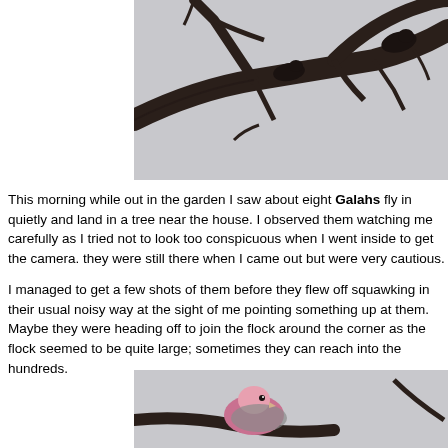[Figure (photo): Close-up photo of dark birds (Galahs) perched on bare branches against a light grey sky, shot from below.]
This morning while out in the garden I saw about eight Galahs fly in quietly and land in a tree near the house. I observed them watching me carefully as I tried not to look too conspicuous when I went inside to get the camera. they were still there when I came out but were very cautious.
I managed to get a few shots of them before they flew off squawking in their usual noisy way at the sight of me pointing something up at them. Maybe they were heading off to join the flock around the corner as the flock seemed to be quite large; sometimes they can reach into the hundreds.
[Figure (photo): Close-up photo of a Galah bird on a branch showing pink and grey plumage against a light grey sky.]